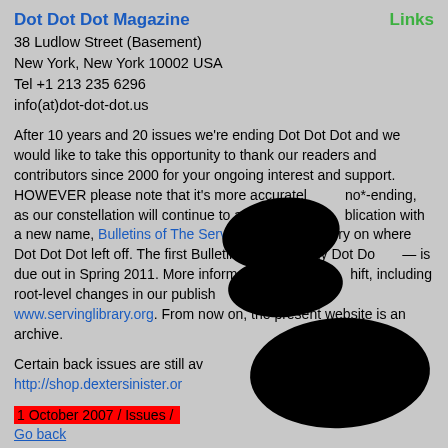Dot Dot Dot Magazine   Links
38 Ludlow Street (Basement)
New York, New York 10002 USA
Tel +1 213 235 6296
info(at)dot-dot-dot.us
After 10 years and 20 issues we're ending Dot Dot Dot and we would like to take this opportunity to thank our readers and contributors since 2000 for your ongoing interest and support. HOWEVER please note that it's more accurately [redacted] no*-ending, as our constellation will continue to assemble a [redacted] blication with a new name, Bulletins of The Serving Lib[redacted] will carry on where Dot Dot Dot left off. The first Bulletins — effectively Dot Do[redacted] — is due out in Spring 2011. More information on the re[redacted]hift, including root-level changes in our publish[redacted], is available at www.servinglibrary.org. From now on, the present website is an archive.
Certain back issues are still av[redacted]
http://shop.dextersinister.or[redacted]
1 October 2007 / Issues / [redacted]
Go back
--
S as in SStenographer
SOLD OUT